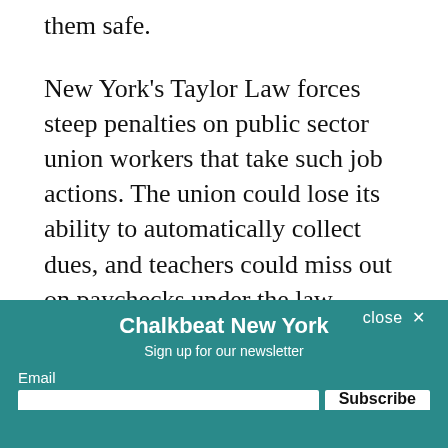them safe.
New York's Taylor Law forces steep penalties on public sector union workers that take such job actions. The union could lose its ability to automatically collect dues, and teachers could miss out on paychecks under the law.
Last month, the American Federation of
teachers said it would support strikes over teacher sa...
...ago to teachers raised the specter of an action...
Chalkbeat New York — Sign up for our newsletter
Email
Subscribe
By signing up, you agree to our Privacy Notice and European users agree to the data transfer policy.